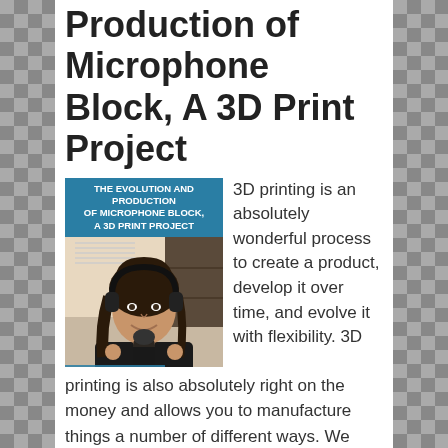Production of Microphone Block, A 3D Print Project
[Figure (photo): Thumbnail image with teal header text reading 'THE EVOLUTION AND PRODUCTION OF MICROPHONE BLOCK, A 3D PRINT PROJECT' above a photo of a woman wearing headphones and smiling near a microphone, with 'WTFFF?!' branding visible]
3D printing is an absolutely wonderful process to create a product, develop it over time, and evolve it with flexibility. 3D printing is also absolutely right on the money and allows you to manufacture things a number of different ways. We reveal an important 3D print project that we have been working on, a Microphone